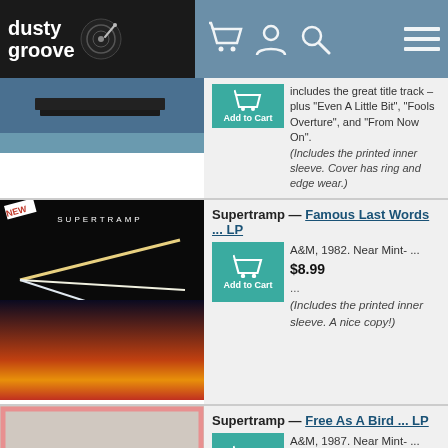dusty groove
includes the great title track – plus "Even A Little Bit", "Fools Overture", and "From Now On". (Includes the printed inner sleeve. Cover has ring and edge wear.)
Supertramp — Famous Last Words ... LP
A&M, 1982. Near Mint- ... $8.99
...
(Includes the printed inner sleeve. A nice copy!)
Supertramp — Free As A Bird ... LP
A&M, 1987. Near Mint- ... $9.99
...
(In the pink die-cut cover variant, with light ringwear. Includes the printed inner sleeve.)
Joao Suplicy — Love Me Tender ... CD
Albatroz (Brazil), 2006. Used ... $0.99
Produced by Roberto Menescal and featuring